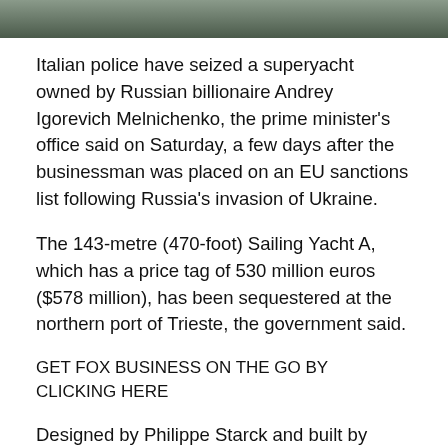[Figure (photo): Partial photo strip at top of page showing a yacht or boat on water, cropped to a narrow horizontal band]
Italian police have seized a superyacht owned by Russian billionaire Andrey Igorevich Melnichenko, the prime minister's office said on Saturday, a few days after the businessman was placed on an EU sanctions list following Russia's invasion of Ukraine.
The 143-metre (470-foot) Sailing Yacht A, which has a price tag of 530 million euros ($578 million), has been sequestered at the northern port of Trieste, the government said.
GET FOX BUSINESS ON THE GO BY CLICKING HERE
Designed by Philippe Starck and built by Nobiskrug in Germany, the vessel is the world's biggest sailing yacht, the